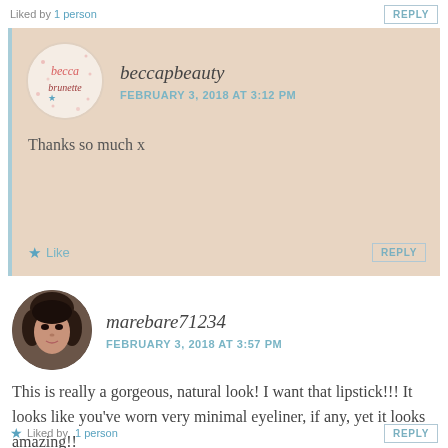Liked by 1 person
REPLY
beccapbeauty
FEBRUARY 3, 2018 AT 3:12 PM
Thanks so much x
Like
REPLY
[Figure (photo): Profile avatar of marebare71234 - photo of a dark-haired woman]
marebare71234
FEBRUARY 3, 2018 AT 3:57 PM
This is really a gorgeous, natural look! I want that lipstick!!! It looks like you've worn very minimal eyeliner, if any, yet it looks amazing!!
Liked by 1 person
REPLY